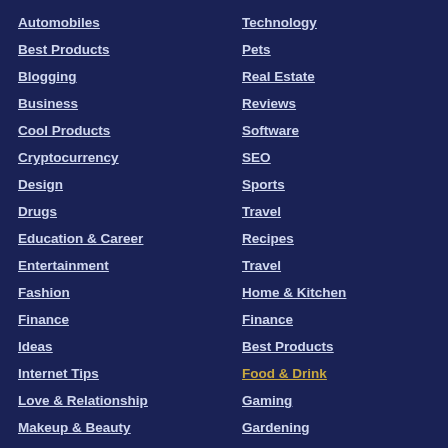Automobiles
Best Products
Blogging
Business
Cool Products
Cryptocurrency
Design
Drugs
Education & Career
Entertainment
Fashion
Finance
Ideas
Internet Tips
Love & Relationship
Makeup & Beauty
Mind & Performance
Mobile Phones
News
Technology
Pets
Real Estate
Reviews
Software
SEO
Sports
Travel
Recipes
Travel
Home & Kitchen
Finance
Best Products
Food & Drink
Gaming
Gardening
Health & Fitness
Home & Kitchen
Legal & Law